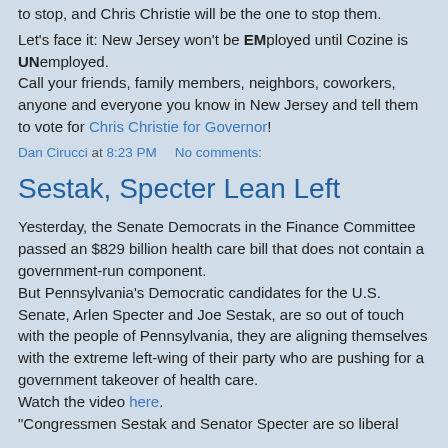to stop, and Chris Christie will be the one to stop them.
Let's face it: New Jersey won't be EMployed until Cozine is UNemployed.
Call your friends, family members, neighbors, coworkers, anyone and everyone you know in New Jersey and tell them to vote for Chris Christie for Governor!
Dan Cirucci at 8:23 PM    No comments:
Sestak, Specter Lean Left
Yesterday, the Senate Democrats in the Finance Committee passed an $829 billion health care bill that does not contain a government-run component.
But Pennsylvania's Democratic candidates for the U.S. Senate, Arlen Specter and Joe Sestak, are so out of touch with the people of Pennsylvania, they are aligning themselves with the extreme left-wing of their party who are pushing for a government takeover of health care.
Watch the video here.
"Congressmen Sestak and Senator Specter are so liberal